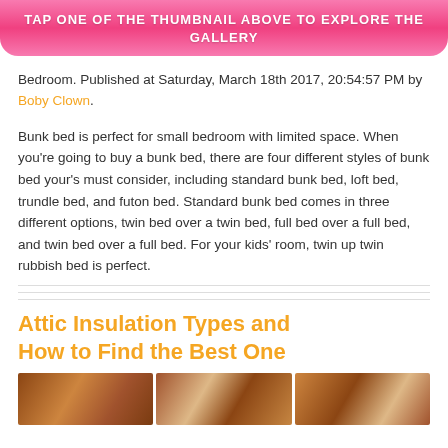[Figure (other): Pink banner button with text TAP ONE OF THE THUMBNAIL ABOVE TO EXPLORE THE GALLERY]
Bedroom. Published at Saturday, March 18th 2017, 20:54:57 PM by Boby Clown.
Bunk bed is perfect for small bedroom with limited space. When you're going to buy a bunk bed, there are four different styles of bunk bed your's must consider, including standard bunk bed, loft bed, trundle bed, and futon bed. Standard bunk bed comes in three different options, twin bed over a twin bed, full bed over a full bed, and twin bed over a full bed. For your kids' room, twin up twin rubbish bed is perfect.
Attic Insulation Types and How to Find the Best One
[Figure (photo): Three thumbnail photos of attic insulation]